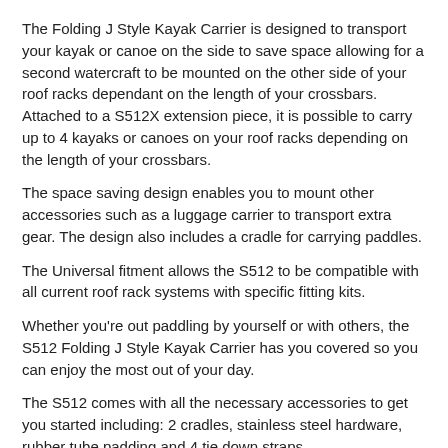The Folding J Style Kayak Carrier is designed to transport your kayak or canoe on the side to save space allowing for a second watercraft to be mounted on the other side of your roof racks dependant on the length of your crossbars. Attached to a S512X extension piece, it is possible to carry up to 4 kayaks or canoes on your roof racks depending on the length of your crossbars.
The space saving design enables you to mount other accessories such as a luggage carrier to transport extra gear. The design also includes a cradle for carrying paddles.
The Universal fitment allows the S512 to be compatible with all current roof rack systems with specific fitting kits.
Whether you're out paddling by yourself or with others, the S512 Folding J Style Kayak Carrier has you covered so you can enjoy the most out of your day.
The S512 comes with all the necessary accessories to get you started including: 2 cradles, stainless steel hardware, rubber tube padding and 4 tie down straps.
Features:
Universal fitment - fits most popular brand of roof rack crossbars